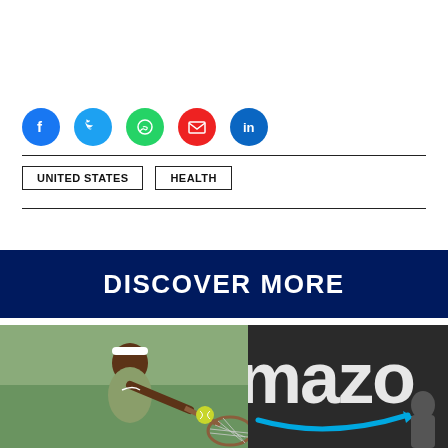[Figure (infographic): Social media share icons: Facebook (blue), Twitter (blue), WhatsApp (green), Email (red), LinkedIn (blue)]
UNITED STATES   HEALTH
DISCOVER MORE
[Figure (photo): Serena Williams hitting a tennis ball with a racket, wearing a green Nike outfit and white headband]
[Figure (photo): Amazon logo sign, partial view showing 'mazo' with the blue arrow smile logo, dark background with a person visible]